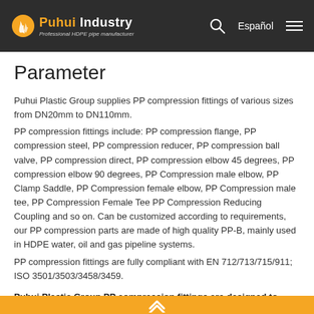Puhui Industry — Professional HDPE pipe manufacturer | Español
Parameter
Puhui Plastic Group supplies PP compression fittings of various sizes from DN20mm to DN110mm.
PP compression fittings include: PP compression flange, PP compression steel, PP compression reducer, PP compression ball valve, PP compression direct, PP compression elbow 45 degrees, PP compression elbow 90 degrees, PP Compression male elbow, PP Clamp Saddle, PP Compression female elbow, PP Compression male tee, PP Compression Female Tee PP Compression Reducing Coupling and so on. Can be customized according to requirements, our PP compression parts are made of high quality PP-B, mainly used in HDPE water, oil and gas pipeline systems.
PP compression fittings are fully compliant with EN 712/713/715/911; ISO 3501/3503/3458/3459.
Puhui Plastic Group PP compression fittings are designed to withstand PN16 bars at 20 °C. as follows: